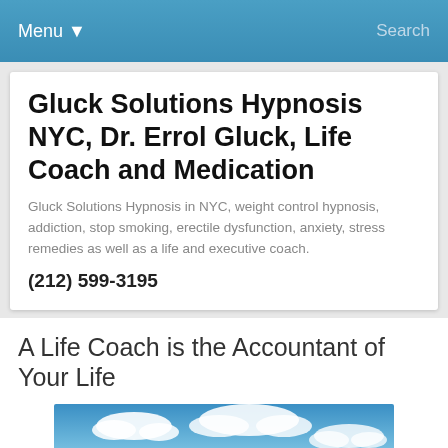Menu ▾  Search
Gluck Solutions Hypnosis NYC, Dr. Errol Gluck, Life Coach and Medication
Gluck Solutions Hypnosis in NYC, weight control hypnosis, addiction, stop smoking, erectile dysfunction, anxiety, stress remedies as well as a life and executive coach.
(212) 599-3195
A Life Coach is the Accountant of Your Life
[Figure (photo): Outdoor landscape with a winding dirt path through green meadows under a blue sky with white clouds]